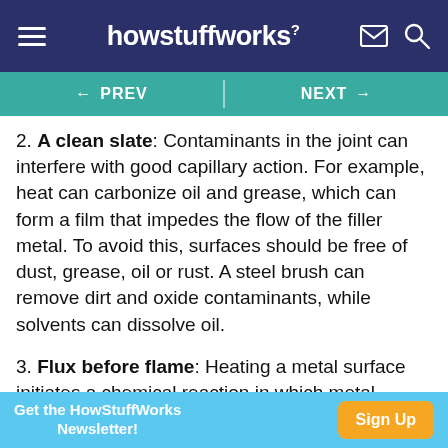howstuffworks
← PREV   NEXT →
2. A clean slate: Contaminants in the joint can interfere with good capillary action. For example, heat can carbonize oil and grease, which can form a film that impedes the flow of the filler metal. To avoid this, surfaces should be free of dust, grease, oil or rust. A steel brush can remove dirt and oxide contaminants, while solvents can dissolve oil.
3. Flux before flame: Heating a metal surface initiates a chemical reaction in which metal atoms combine with oxygen. This produces
Get the HowStuffWorks Newsletter!   Sign Up